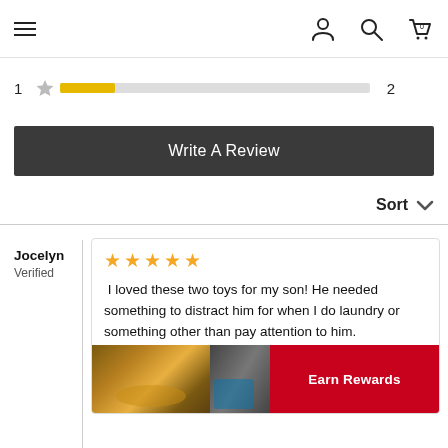Navigation bar with hamburger menu, user icon, search icon, cart icon (0)
[Figure (infographic): 1-star rating bar row showing a yellow partial fill bar with count of 2]
Write A Review
Sort
Jocelyn
Verified
I loved these two toys for my son! He needed something to distract him for when I do laundry or something other than pay attention to him.
[Figure (photo): Two product thumbnail photos at bottom of review, with Earn Rewards badge overlay]